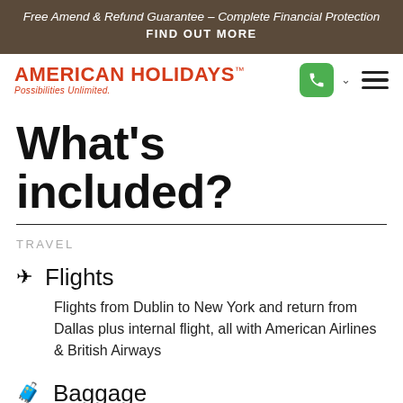Free Amend & Refund Guarantee – Complete Financial Protection
FIND OUT MORE
[Figure (logo): American Holidays logo with tagline 'Possibilities Unlimited.' in red, with phone icon, chevron, and hamburger menu icons]
What's included?
TRAVEL
Flights
Flights from Dublin to New York and return from Dallas plus internal flight, all with American Airlines & British Airways
Baggage